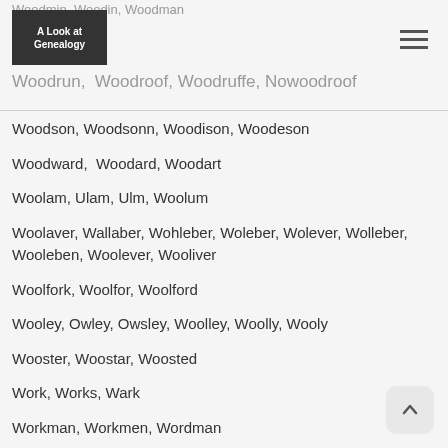Woodmin, Woodin, Woodman
Woodrun, Woodroof, Woodruffe, Nowoodroof
Woodson, Woodsonn, Woodison, Woodeson
Woodward, Woodard, Woodart
Woolam, Ulam, Ulm, Woolum
Woolaver, Wallaber, Wohleber, Woleber, Wolever, Wolleber, Wooleben, Woolever, Wooliver
Woolfork, Woolfor, Woolford
Wooley, Owley, Owsley, Woolley, Woolly, Wooly
Wooster, Woostar, Woosted
Work, Works, Wark
Workman, Workmen, Wordman